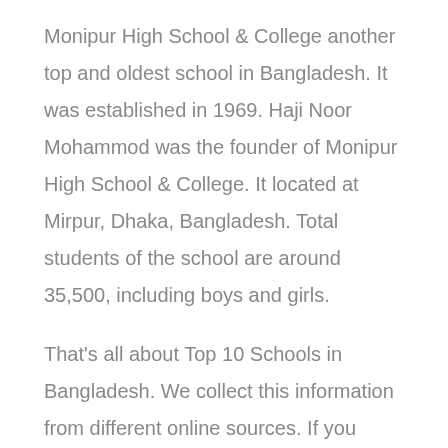Monipur High School & College another top and oldest school in Bangladesh. It was established in 1969. Haji Noor Mohammod was the founder of Monipur High School & College. It located at Mirpur, Dhaka, Bangladesh. Total students of the school are around 35,500, including boys and girls.
That's all about Top 10 Schools in Bangladesh. We collect this information from different online sources. If you have any query,